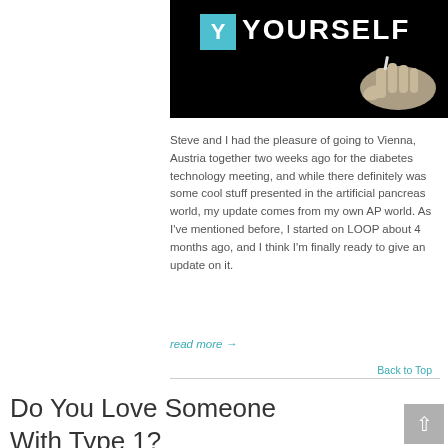[Figure (photo): Dark banner image with a cyan square Y logo and the word YOURSELF in white bold letters, with a hand writing on the right side against a black background.]
Steve and I had the pleasure of going to Vienna, Austria together two weeks ago for the diabetes technology meeting, and while there definitely was some cool stuff presented in the artificial pancreas world, my update comes from my own AP world. As I’ve mentioned before, I started on LOOP about 4 months ago, and I think I’m finally ready to give an update on it.
read more →
Back to Top
Do You Love Someone With Type 1?